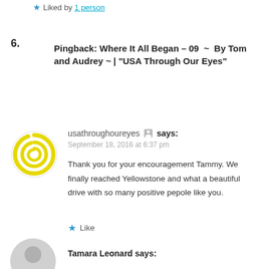★ Liked by 1 person
6.
Pingback: Where It All Began – 09  ~  By Tom and Audrey ~ | "USA Through Our Eyes"
[Figure (logo): Yellow spiral logo circle on white background]
usathroughoureyes [icon] says:
September 18, 2016 at 6:37 pm
Thank you for your encouragement Tammy. We finally reached Yellowstone and what a beautiful drive with so many positive pepole like you.
★ Like
[Figure (illustration): Gray circular avatar silhouette at bottom of page]
Tamara Leonard says: